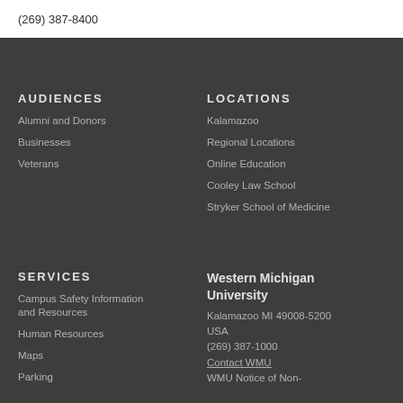(269) 387-8400
AUDIENCES
Alumni and Donors
Businesses
Veterans
LOCATIONS
Kalamazoo
Regional Locations
Online Education
Cooley Law School
Stryker School of Medicine
SERVICES
Campus Safety Information and Resources
Human Resources
Maps
Parking
Western Michigan University
Kalamazoo MI 49008-5200
USA
(269) 387-1000
Contact WMU
WMU Notice of Non-